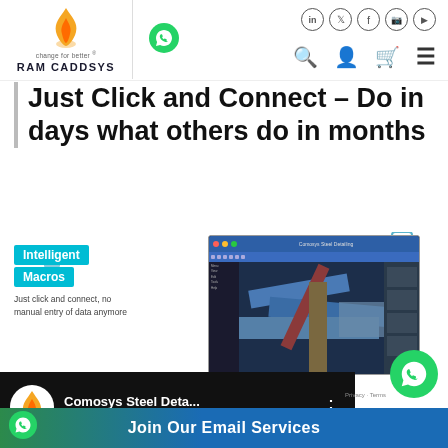RAM CADDSYS - Change for better
Just Click and Connect – Do in days what others do in months
[Figure (screenshot): Product promotional screenshot showing RAM CADDSYS software interface with steel detailing, labeled 'Intelligent Macros - Just click and connect, no manual entry of data anymore']
[Figure (screenshot): Video thumbnail for Comosys Steel Detailing on dark background]
Join Our Email Services